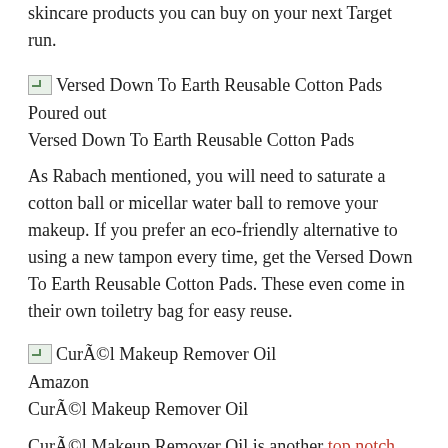skincare products you can buy on your next Target run.
[Figure (photo): Broken image thumbnail for Versed Down To Earth Reusable Cotton Pads]
Poured out
Versed Down To Earth Reusable Cotton Pads
As Rabach mentioned, you will need to saturate a cotton ball or micellar water ball to remove your makeup. If you prefer an eco-friendly alternative to using a new tampon every time, get the Versed Down To Earth Reusable Cotton Pads. These even come in their own toiletry bag for easy reuse.
[Figure (photo): Broken image thumbnail for Curél Makeup Remover Oil]
Amazon
Curél Makeup Remover Oil
Curél Makeup Remover Oil is another top notch option to consider. “Cleansing oils have the added benefit of hydrating the skin,” says Birnbaum. “It should be noted that it is